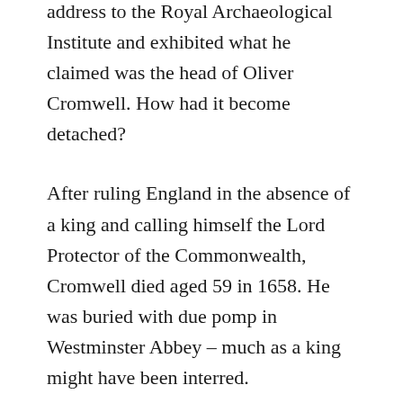address to the Royal Archaeological Institute and exhibited what he claimed was the head of Oliver Cromwell. How had it become detached?
After ruling England in the absence of a king and calling himself the Lord Protector of the Commonwealth, Cromwell died aged 59 in 1658. He was buried with due pomp in Westminster Abbey – much as a king might have been interred.
However, a year later, the brave experiment in republicanism collapsed and King Charles II – son of the beheaded king – took the throne. He immediately had Oliver Cromwell exhumed and hanged in chains at Tyburn. This was the gallows in London where common people dangled from a rope.